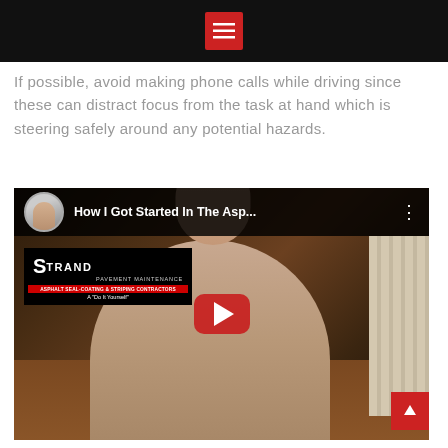Menu
If possible, avoid making phone calls while driving since these can distract focus from the task at hand which is steering safely around any potential hazards.
[Figure (screenshot): YouTube video thumbnail showing 'How I Got Started In The Asp...' with a man sitting at a desk in front of a Strand Pavement Maintenance monitor, with a play button overlaid.]